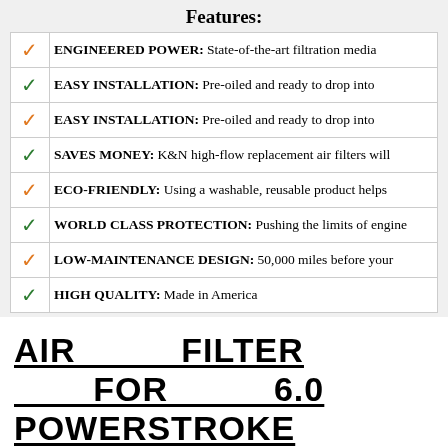Features:
ENGINEERED POWER: State-of-the-art filtration media
EASY INSTALLATION: Pre-oiled and ready to drop into
EASY INSTALLATION: Pre-oiled and ready to drop into
SAVES MONEY: K&N high-flow replacement air filters will
ECO-FRIENDLY: Using a washable, reusable product helps
WORLD CLASS PROTECTION: Pushing the limits of engine
LOW-MAINTENANCE DESIGN: 50,000 miles before your
HIGH QUALITY: Made in America
AIR FILTER FOR 6.0 POWERSTROKE BUYING GUIDE
Does the thought of finding a great Air Filter For 6.0 Powerstroke stress you out? Has your mind